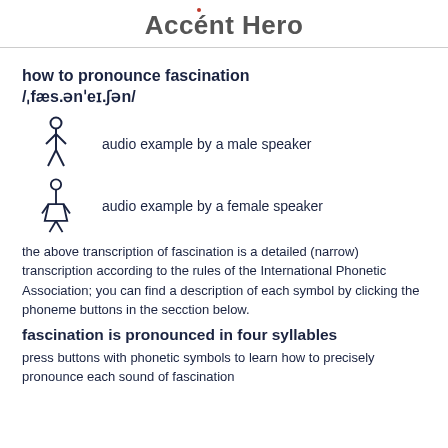Accént Hero
how to pronounce fascination /ˌfæs.ənˈeɪ.ʃən/
audio example by a male speaker
audio example by a female speaker
the above transcription of fascination is a detailed (narrow) transcription according to the rules of the International Phonetic Association; you can find a description of each symbol by clicking the phoneme buttons in the secction below.
fascination is pronounced in four syllables
press buttons with phonetic symbols to learn how to precisely pronounce each sound of fascination